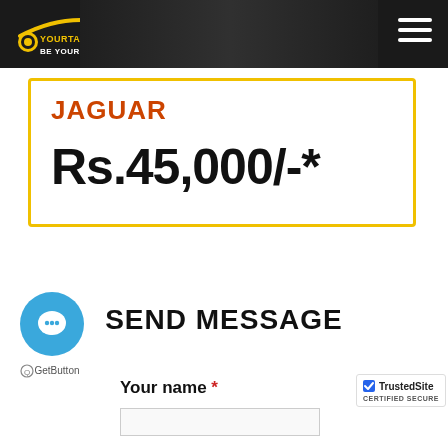YOURTAXISTAND BE YOURSELF
JAGUAR
Rs.45,000/-*
SEND MESSAGE
Your name *
GetButton
TrustedSite CERTIFIED SECURE